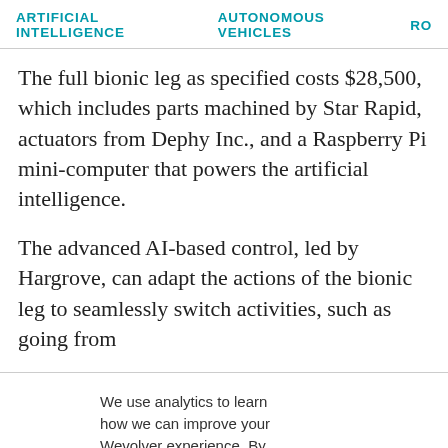ARTIFICIAL INTELLIGENCE   AUTONOMOUS VEHICLES   RO…
The full bionic leg as specified costs $28,500, which includes parts machined by Star Rapid, actuators from Dephy Inc., and a Raspberry Pi mini-computer that powers the artificial intelligence.
The advanced AI-based control, led by Hargrove, can adapt the actions of the bionic leg to seamlessly switch activities, such as going from
We use analytics to learn how we can improve your Wevolver experience. By continuing to browse the site you're agreeing to our use of cookies to do so. You can read our cookie policy here.